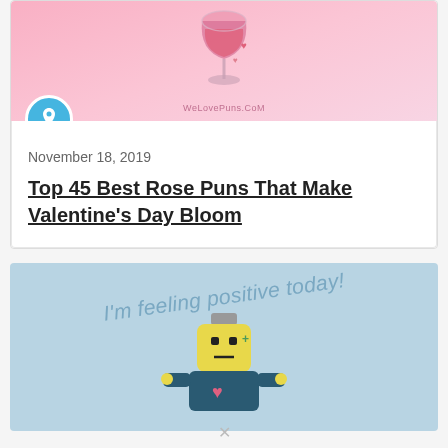[Figure (illustration): Pink background card with a wine glass illustration containing pink liquid, small pink hearts, and watermark text 'WeLovePuns.CoM']
November 18, 2019
Top 45 Best Rose Puns That Make Valentine's Day Bloom
[Figure (illustration): Light blue card with italic text 'I'm feeling positive today!' and a cartoon battery character wearing a hat and dark outfit with a pink heart on its chest]